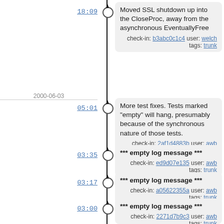18:09
Moved SSL shutdown up into the CloseProc, away from the asynchronous EventuallyFree
check-in: b3abc0c1c4 user: welch tags: trunk
2000-06-03
05:01
More test fixes. Tests marked "empty" will hang, presumably because of the synchronous nature of those tests.
check-in: 2af1d4883b user: awb tags: trunk
03:35
*** empty log message ***
check-in: ed9d07e135 user: awb tags: trunk
03:17
*** empty log message ***
check-in: a05622355a user: awb tags: trunk
03:00
*** empty log message ***
check-in: 2271d7b9c3 user: awb tags: trunk
02:30
*** empty log message ***
check-in: 4bf039c9a5 user: awb tags: trunk
02:30